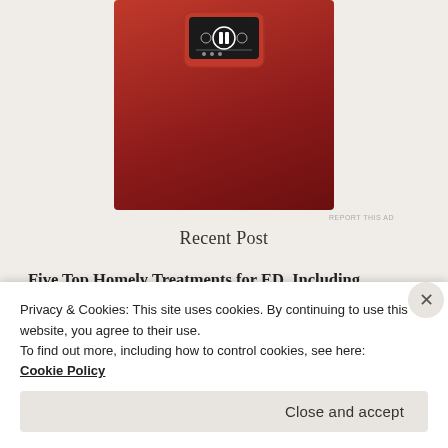[Figure (photo): Red smartphone device on a red background, showing media player controls with pause button]
REPORT THIS AD
Recent Post
Five Top Homely Treatments for ED, Including Kamagra Oral Jelly January 8, 2022
For men with diabetes and erectile dysfunction, there is a link and treatment
Privacy & Cookies: This site uses cookies. By continuing to use this website, you agree to their use.
To find out more, including how to control cookies, see here:
Cookie Policy
Close and accept